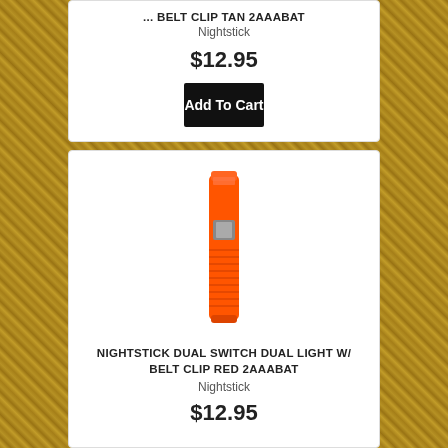... BELT CLIP TAN 2AAABAT
Nightstick
$12.95
Add To Cart
[Figure (photo): Orange cylindrical flashlight with dual light and belt clip, standing vertically]
NIGHTSTICK DUAL SWITCH DUAL LIGHT W/ BELT CLIP RED 2AAABAT
Nightstick
$12.95